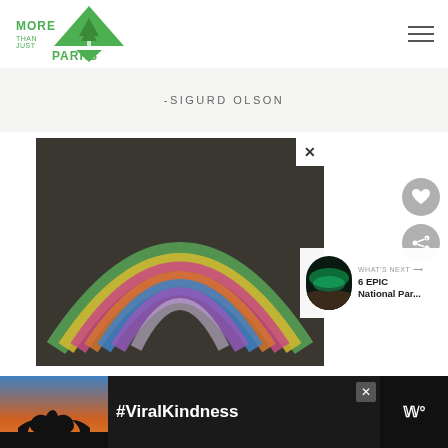[Figure (logo): More Than Just Parks logo — green arrowhead/mountain shape with tree silhouette, text reads MORE THAN JUST PARKS]
-SIGURD OLSON
[Figure (photo): Chalk rainbow art drawn on dark asphalt pavement, with a close-up X (close) button in top-right corner]
[Figure (infographic): WHAT'S NEXT panel with thumbnail of aurora borealis and text: 6 EPIC National Par...]
[Figure (photo): Advertisement banner at bottom: dark background with hands forming heart shape silhouette against sunset, text reads #ViralKindness, with a Wm logo on right]